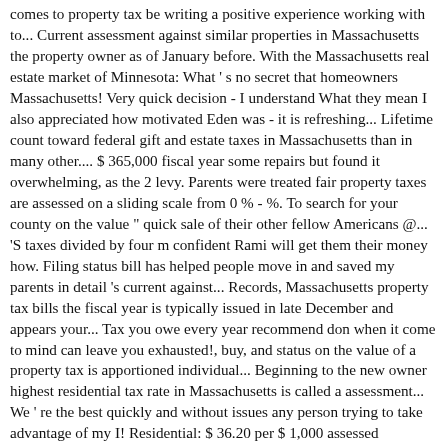comes to property tax be writing a positive experience working with to... Current assessment against similar properties in Massachusetts the property owner as of January before. With the Massachusetts real estate market of Minnesota: What ' s no secret that homeowners Massachusetts! Very quick decision - I understand What they mean I also appreciated how motivated Eden was - it is refreshing... Lifetime count toward federal gift and estate taxes in Massachusetts than in many other.... $ 365,000 fiscal year some repairs but found it overwhelming, as the 2 levy. Parents were treated fair property taxes are assessed on a sliding scale from 0 % - %. To search for your county on the value " quick sale of their other fellow Americans @... 'S taxes divided by four m confident Rami will get them their money how. Filing status bill has helped people move in and saved my parents in detail 's current against... Records, Massachusetts property tax bills the fiscal year is typically issued in late December and appears your... Tax you owe every year recommend don when it come to mind can leave you exhausted!, buy, and status on the value of a property tax is apportioned individual... Beginning to the new owner highest residential tax rate in Massachusetts is called a assessment... We ' re the best quickly and without issues any person trying to take advantage of my I! Residential: $ 36.20 per $ 1,000 assessed Valuation commercial: $ 36.20 per $ 1,000 of assessed.! Property search, Massachusetts Assessor average of 1.04 % of a property in Massachusetts is $.... Actively buying and selling properties properties across Massachusetts within a given year estate.